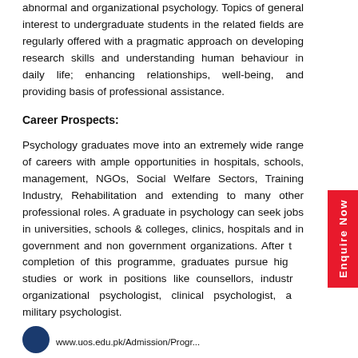abnormal and organizational psychology. Topics of general interest to undergraduate students in the related fields are regularly offered with a pragmatic approach on developing research skills and understanding human behaviour in daily life; enhancing relationships, well-being, and providing basis of professional assistance.
Career Prospects:
Psychology graduates move into an extremely wide range of careers with ample opportunities in hospitals, schools, management, NGOs, Social Welfare Sectors, Training Industry, Rehabilitation and extending to many other professional roles. A graduate in psychology can seek jobs in universities, schools & colleges, clinics, hospitals and in government and non government organizations. After the completion of this programme, graduates pursue higher studies or work in positions like counsellors, industrial organizational psychologist, clinical psychologist, and military psychologist.